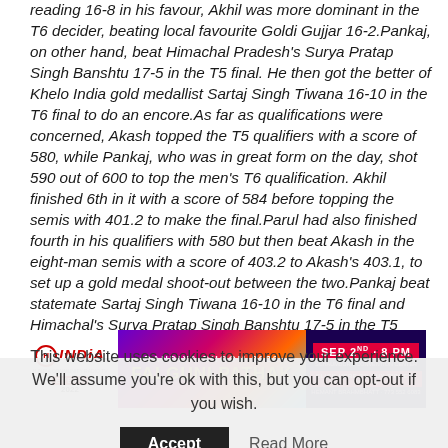reading 16-8 in his favour, Akhil was more dominant in the T6 decider, beating local favourite Goldi Gujjar 16-2.Pankaj, on other hand, beat Himachal Pradesh's Surya Pratap Singh Banshtu 17-5 in the T5 final. He then got the better of Khelo India gold medallist Sartaj Singh Tiwana 16-10 in the T6 final to do an encore.As far as qualifications were concerned, Akash topped the T5 qualifiers with a score of 580, while Pankaj, who was in great form on the day, shot 590 out of 600 to top the men's T6 qualification. Akhil finished 6th in it with a score of 584 before topping the semis with 401.2 to make the final.Parul had also finished fourth in his qualifiers with 580 but then beat Akash in the eight-man semis with a score of 403.2 to Akash's 403.1, to set up a gold medal shoot-out between the two.Pankaj beat statemate Sartaj Singh Tiwana 16-10 in the T6 final and Himachal's Surya Pratap Singh Banshtu 17-5 in the T5 final.–IANSavn/bsk
[Figure (infographic): HI India Event 2022 advertisement banner for Dandiya Dhoom 2022 featuring Falguni Pathak, Sep 2nd 8 PM, Schaumburg Convention Center, Buy Tickets Online, Hemant Brahmbhatt 773 552 6083]
This website uses cookies to improve your experience. We'll assume you're ok with this, but you can opt-out if you wish.
Accept   Read More